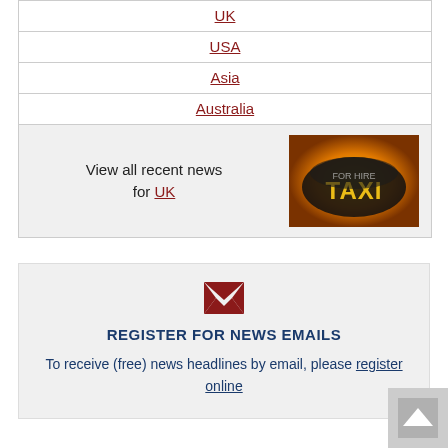UK
USA
Asia
Australia
View all recent news for UK
[Figure (photo): A taxi sign lit up in orange/yellow light]
REGISTER FOR NEWS EMAILS
To receive (free) news headlines by email, please register online